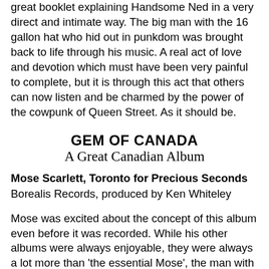great booklet explaining Handsome Ned in a very direct and intimate way. The big man with the 16 gallon hat who hid out in punkdom was brought back to life through his music. A real act of love and devotion which must have been very painful to complete, but it is through this act that others can now listen and be charmed by the power of the cowpunk of Queen Street. As it should be.
GEM OF CANADA
A Great Canadian Album
Mose Scarlett, Toronto for Precious Seconds
Borealis Records, produced by Ken Whiteley
Mose was excited about the concept of this album even before it was recorded. While his other albums were always enjoyable, they were always a lot more than 'the essential Mose', the man with the guitar and the beard and the rock bottom whisky voice that boomed through the mics of the Free Times Cafe. What makes this CD so special is that this is the